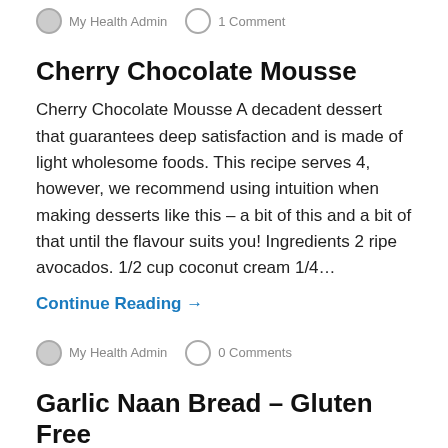My Health Admin   1 Comment
Cherry Chocolate Mousse
Cherry Chocolate Mousse A decadent dessert that guarantees deep satisfaction and is made of light wholesome foods. This recipe serves 4, however, we recommend using intuition when making desserts like this – a bit of this and a bit of that until the flavour suits you! Ingredients 2 ripe avocados. 1/2 cup coconut cream 1/4…
Continue Reading →
My Health Admin   0 Comments
Garlic Naan Bread – Gluten Free
This is the easiest cheat's naan bread recipe that is super yummy, healthy and gluten free. Ingredients 1 can coconut milk 1/2 can almond meal 1/2 can tapioca or rice flour (can use spelt flour, however, it won't be fully gluten free) tsp sea salt 2-3 tsp